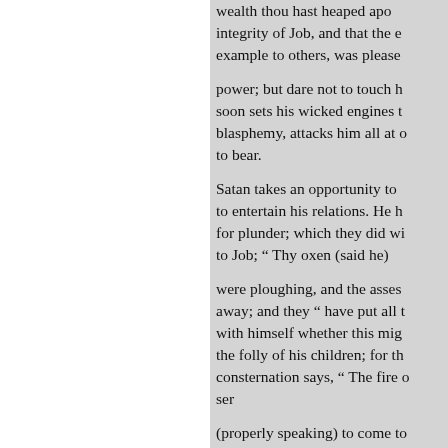wealth thou hast heaped apo integrity of Job, and that the e example to others, was please
power; but dare not to touch h soon sets his wicked engines t blasphemy, attacks him all at o to bear.
Satan takes an opportunity to to entertain his relations. He h for plunder; which they did wi to Job; “ Thy oxen (said he)
were ploughing, and the asses away; and they “ have put all with himself whether this mig the folly of his children; for th consternation says, “ The fire ser
(properly speaking) to come to to God, who is without time, in
• Sabeans. They were a neig Kerturab, Gen. xxv. 3.